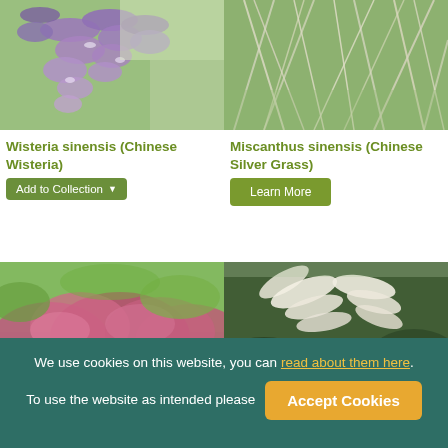[Figure (photo): Purple wisteria flowers hanging in clusters with green leaves]
Wisteria sinensis (Chinese Wisteria)
Add to Collection
[Figure (photo): Miscanthus silver grass blowing in the wind]
Miscanthus sinensis (Chinese Silver Grass)
Learn More
[Figure (photo): Pink/red flowering heather or similar shrub]
[Figure (photo): Pampas grass with white feathery plumes against dark trees]
We use cookies on this website, you can read about them here. To use the website as intended please
Accept Cookies